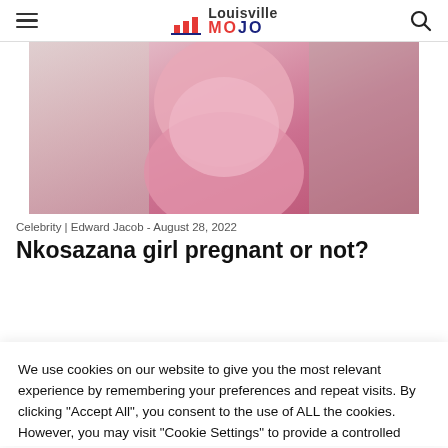Louisville MOJO
[Figure (photo): A person wearing a pink long-sleeve off-shoulder form-fitting dress, posing indoors near stairs.]
Celebrity | Edward Jacob - August 28, 2022
Nkosazana girl pregnant or not?
We use cookies on our website to give you the most relevant experience by remembering your preferences and repeat visits. By clicking "Accept All", you consent to the use of ALL the cookies. However, you may visit "Cookie Settings" to provide a controlled consent.
Cookie Settings | Accept All